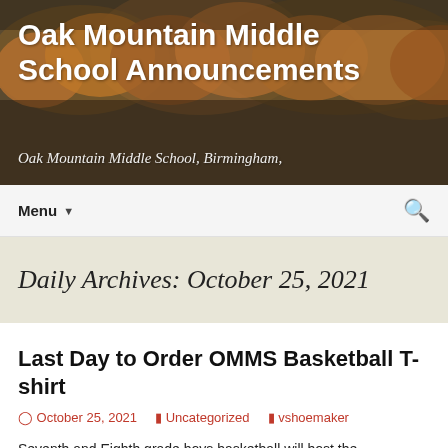[Figure (photo): Autumn forest hillside background banner with orange and brown foliage trees]
Oak Mountain Middle School Announcements
Oak Mountain Middle School, Birmingham,
Menu ▼
Daily Archives: October 25, 2021
Last Day to Order OMMS Basketball T-shirt
October 25, 2021   Uncategorized   vshoemaker
Seventh and Eighth grade boys basketball will host the